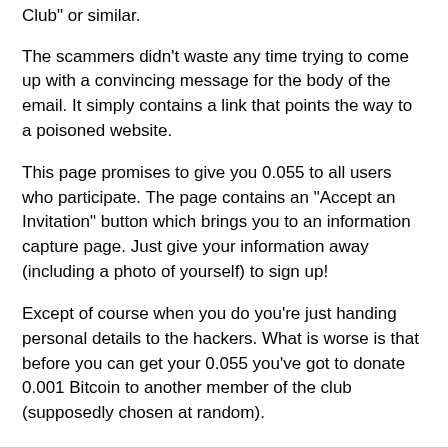Club" or similar.
The scammers didn't waste any time trying to come up with a convincing message for the body of the email. It simply contains a link that points the way to a poisoned website.
This page promises to give you 0.055 to all users who participate. The page contains an "Accept an Invitation" button which brings you to an information capture page. Just give your information away (including a photo of yourself) to sign up!
Except of course when you do you're just handing personal details to the hackers. What is worse is that before you can get your 0.055 you've got to donate 0.001 Bitcoin to another member of the club (supposedly chosen at random).
Naturally when you give the Bitcoin away you never get anything back and the scammers walk away with a tidy sum. Don't fall for it.
Used with permission from Article Aggregator